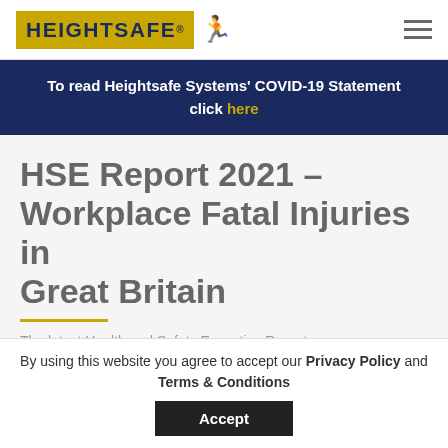[Figure (logo): Heightsafe logo with gold background, dark navy text reading HEIGHTSAFE with registered trademark symbol, and a running figure icon]
To read Heightsafe Systems' COVID-19 Statement click here
HSE Report 2021 – Workplace Fatal Injuries in Great Britain
The latest Health and Safety Executive Report on
By using this website you agree to accept our Privacy Policy and Terms & Conditions